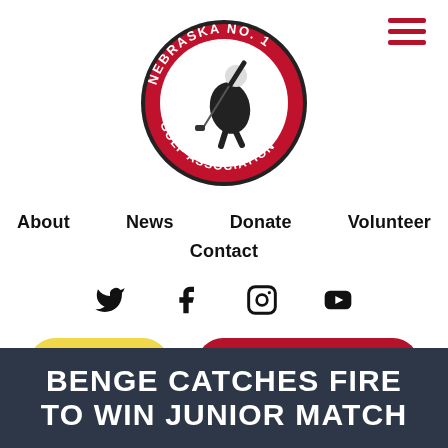[Figure (logo): Nebraska No. 1 Golf Association circular logo with golfer swinging, red border]
About   News   Donate   Volunteer
Contact
[Figure (other): Social media icons: Twitter, Facebook, Instagram, YouTube]
JOIN
POST SCORES
BENGE CATCHES FIRE TO WIN JUNIOR MATCH